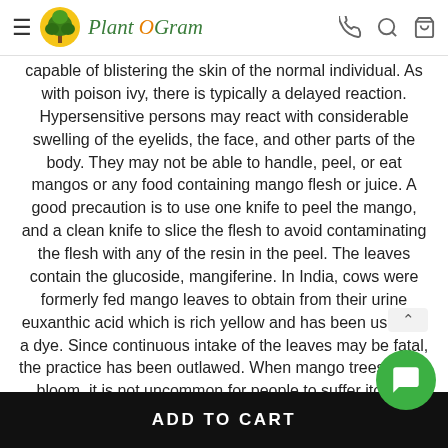Plant O Gram
capable of blistering the skin of the normal individual. As with poison ivy, there is typically a delayed reaction. Hypersensitive persons may react with considerable swelling of the eyelids, the face, and other parts of the body. They may not be able to handle, peel, or eat mangos or any food containing mango flesh or juice. A good precaution is to use one knife to peel the mango, and a clean knife to slice the flesh to avoid contaminating the flesh with any of the resin in the peel. The leaves contain the glucoside, mangiferine. In India, cows were formerly fed mango leaves to obtain from their urine euxanthic acid which is rich yellow and has been used as a dye. Since continuous intake of the leaves may be fatal, the practice has been outlawed. When mango trees are in bloom, it is not uncommon for people to suffer itching around the eyes, facial swelling and respiratory difficulty, even though the...
ADD TO CART